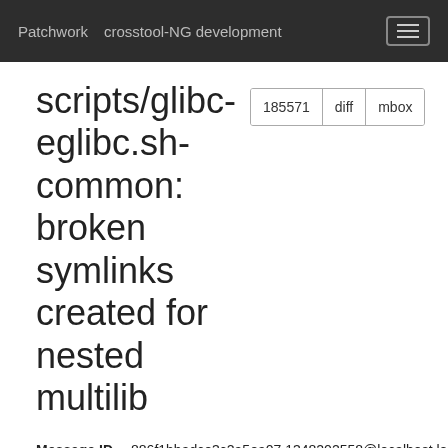Patchwork   crosstool-NG development
scripts/glibc-eglibc.sh-common: broken symlinks created for nested multilib
| Field | Value |
| --- | --- |
| Message ID | 886f1bbadce3c2a5ea07.1348202558@localhost.locald |
| State | New |
| Headers | show |
Commit Message
David Holsgrove   Sept. 21, 2012, 4:42 a.m. UTC